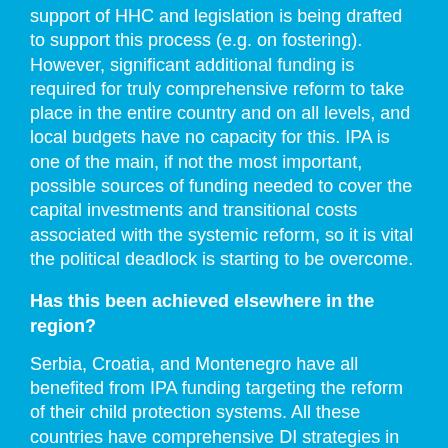support of HHC and legislation is being drafted to support this process (e.g. on fostering). However, significant additional funding is required for truly comprehensive reform to take place in the entire country and on all levels, and local budgets have no capacity for this. IPA is one of the main, if not the most important, possible sources of funding needed to cover the capital investments and transitional costs associated with the systemic reform, so it is vital the political deadlock is starting to be overcome.
Has this been achieved elsewhere in the region?
Serbia, Croatia, and Montenegro have all benefited from IPA funding targeting the reform of their child protection systems. All these countries have comprehensive DI strategies in place and are in different stages of the process. In Serbia, in particular, fostering has been significantly developed (including specialised fostering), allowing more than half of children without parental care to be moved from institutions. However, institutionalisation of children with disabilities remains an issue and a top priority in all these countries, as well as in Bosnia and Herzegovina.